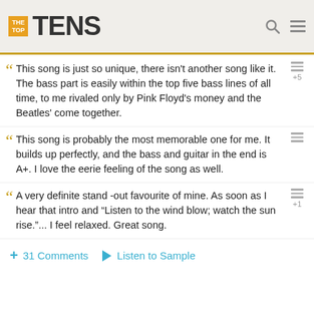THE TOP TENS
This song is just so unique, there isn't another song like it. The bass part is easily within the top five bass lines of all time, to me rivaled only by Pink Floyd's money and the Beatles' come together.
This song is probably the most memorable one for me. It builds up perfectly, and the bass and guitar in the end is A+. I love the eerie feeling of the song as well.
A very definite stand -out favourite of mine. As soon as I hear that intro and "Listen to the wind blow; watch the sun rise."... I feel relaxed. Great song.
+ 31 Comments  ▶ Listen to Sample